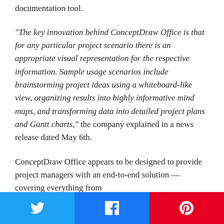documentation tool.
"The key innovation behind ConceptDraw Office is that for any particular project scenario there is an appropriate visual representation for the respective information. Sample usage scenarios include brainstorming project ideas using a whiteboard-like view, organizing results into highly informative mind maps, and transforming data into detailed project plans and Gantt charts," the company explained in a news release dated May 6th.
ConceptDraw Office appears to be designed to provide project managers with an end-to-end solution — covering everything from